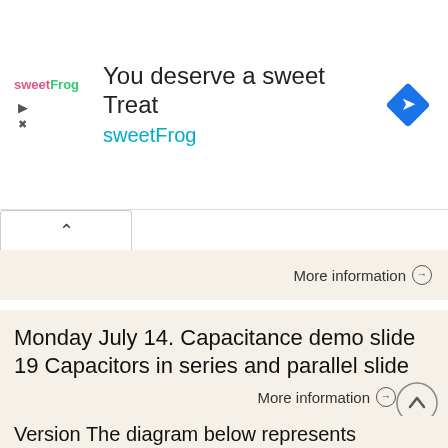[Figure (screenshot): SweetFrog advertisement banner with logo, headline 'You deserve a sweet Treat', subtext 'sweetFrog', and a blue navigation diamond icon]
More information →
Monday July 14. Capacitance demo slide 19 Capacitors in series and parallel slide 33 Elmo example
Monday July 14 Lecture 5 Capacitance demo slide 19 Capacitors in series and parallel slide 33 Elmo example Lecture 6 Currents and esistance Lecture 9 Circuits Wear Microphone 1 3 Lecture 6 Current and
More information →
Version The diagram below represents